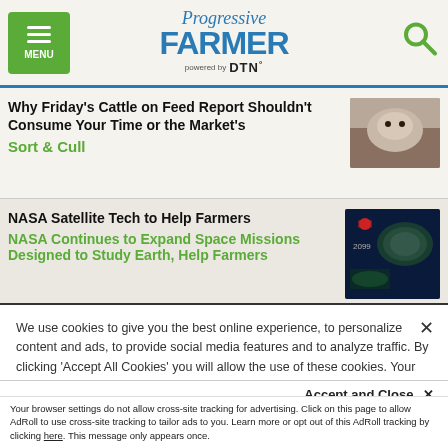Progressive FARMER powered by DTN
Why Friday's Cattle on Feed Report Shouldn't Consume Your Time or the Market's
Sort & Cull
NASA Satellite Tech to Help Farmers
NASA Continues to Expand Space Missions Designed to Study Earth, Help Farmers
We use cookies to give you the best online experience, to personalize content and ads, to provide social media features and to analyze traffic. By clicking 'Accept All Cookies' you will allow the use of these cookies. Your settings can be changed, including withdrawing your consent at any time, by clicking 'Cookie Settings'. Find out more on how we and third parties use cookies in our Cookie Policy
Accept and Close ×
Your browser settings do not allow cross-site tracking for advertising. Click on this page to allow AdRoll to use cross-site tracking to tailor ads to you. Learn more or opt out of this AdRoll tracking by clicking here. This message only appears once.